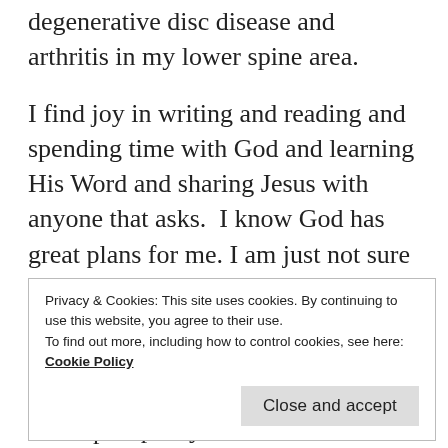degenerative disc disease and arthritis in my lower spine area.
I find joy in writing and reading and spending time with God and learning His Word and sharing Jesus with anyone that asks.  I know God has great plans for me. I am just not sure where to start with these plans. It’s easy to write on topics you are familiar with or have a passion about, but how do you get ideas to write on topics you could care less about or have no idea?  So, I am slowly adjusting to this new call God has placed on my life.
Privacy & Cookies: This site uses cookies. By continuing to use this website, you agree to their use.
To find out more, including how to control cookies, see here: Cookie Policy
how they feel and I can glorify God in the process